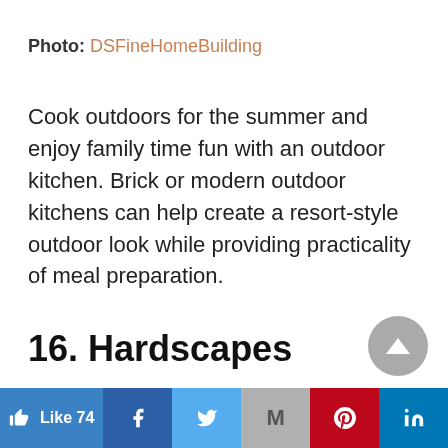Photo: DSFineHomeBuilding
Cook outdoors for the summer and enjoy family time fun with an outdoor kitchen. Brick or modern outdoor kitchens can help create a resort-style outdoor look while providing practicality of meal preparation.
16. Hardscapes
Like 74 | Facebook | Twitter | Gmail | Pinterest | LinkedIn